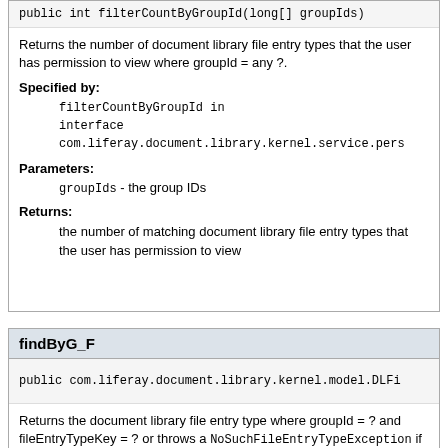public int filterCountByGroupId(long[] groupIds)
Returns the number of document library file entry types that the user has permission to view where groupId = any ?.
Specified by:
filterCountByGroupId in interface com.liferay.document.library.kernel.service.pers
Parameters:
groupIds - the group IDs
Returns:
the number of matching document library file entry types that the user has permission to view
findByG_F
public com.liferay.document.library.kernel.model.DLFi
Returns the document library file entry type where groupId = ? and fileEntryTypeKey = ? or throws a NoSuchFileEntryTypeException if it could not be found.
Specified by: